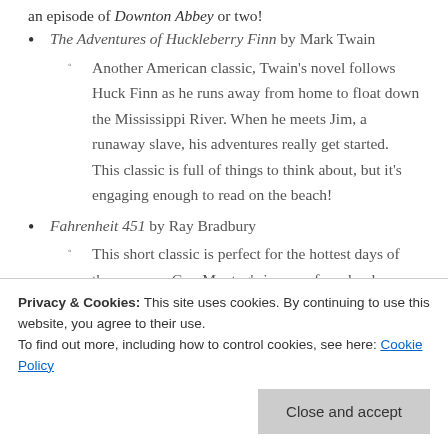an episode of Downton Abbey or two!
The Adventures of Huckleberry Finn by Mark Twain
Another American classic, Twain's novel follows Huck Finn as he runs away from home to float down the Mississippi River. When he meets Jim, a runaway slave, his adventures really get started. This classic is full of things to think about, but it's engaging enough to read on the beach!
Fahrenheit 451 by Ray Bradbury
This short classic is perfect for the hottest days of the summer. Guy Montag's journey from book-burning
Privacy & Cookies: This site uses cookies. By continuing to use this website, you agree to their use.
To find out more, including how to control cookies, see here: Cookie Policy
Close and accept